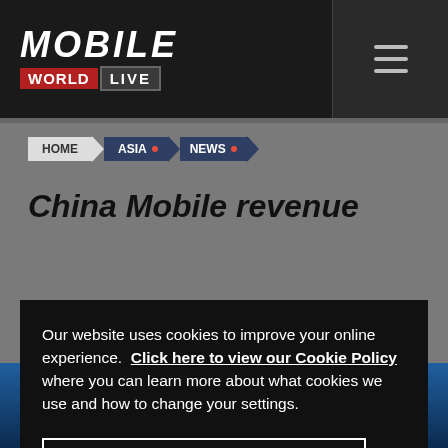[Figure (logo): Mobile World Live logo — white italic MOBILE text above red WORLD box and grey LIVE box]
HOME > ASIA • NEWS •
China Mobile revenue
Our website uses cookies to improve your online experience. Click here to view our Cookie Policy where you can learn more about what cookies we use and how to change your settings.
Yes, I agree to the use of cookies.
Manage Cookies